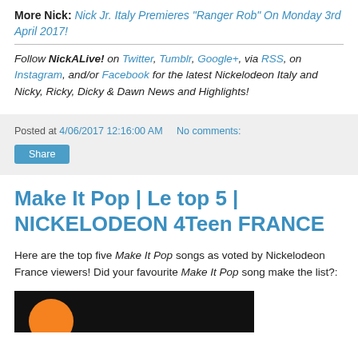More Nick: Nick Jr. Italy Premieres "Ranger Rob" On Monday 3rd April 2017!
Follow NickALive! on Twitter, Tumblr, Google+, via RSS, on Instagram, and/or Facebook for the latest Nickelodeon Italy and Nicky, Ricky, Dicky & Dawn News and Highlights!
Posted at 4/06/2017 12:16:00 AM   No comments:
Share
Make It Pop | Le top 5 | NICKELODEON 4Teen FRANCE
Here are the top five Make It Pop songs as voted by Nickelodeon France viewers! Did your favourite Make It Pop song make the list?:
[Figure (photo): Dark thumbnail strip with orange circle partially visible at bottom left]